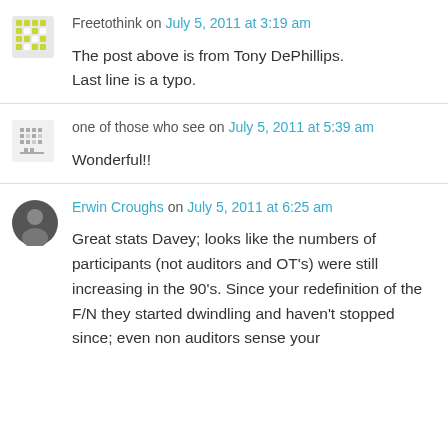Freetothink on July 5, 2011 at 3:19 am
The post above is from Tony DePhillips. Last line is a typo.
one of those who see on July 5, 2011 at 5:39 am
Wonderful!!
Erwin Croughs on July 5, 2011 at 6:25 am
Great stats Davey; looks like the numbers of participants (not auditors and OT's) were still increasing in the 90's. Since your redefinition of the F/N they started dwindling and haven't stopped since; even non auditors sense your